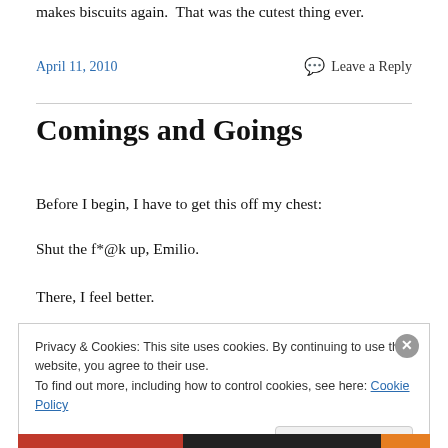makes biscuits again.  That was the cutest thing ever.
April 11, 2010    💬 Leave a Reply
Comings and Goings
Before I begin, I have to get this off my chest:
Shut the f*@k up, Emilio.
There, I feel better.
Privacy & Cookies: This site uses cookies. By continuing to use this website, you agree to their use.
To find out more, including how to control cookies, see here: Cookie Policy
[Close and accept]